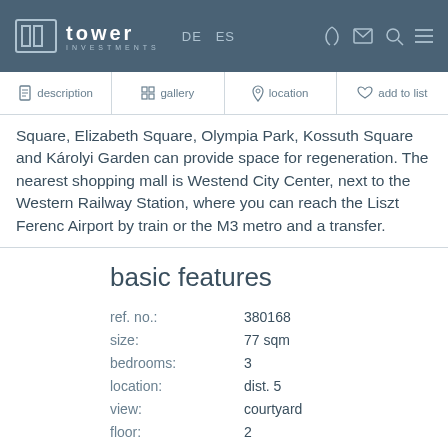Tower Investments — DE ES
Square, Elizabeth Square, Olympia Park, Kossuth Square and Károlyi Garden can provide space for regeneration. The nearest shopping mall is Westend City Center, next to the Western Railway Station, where you can reach the Liszt Ferenc Airport by train or the M3 metro and a transfer.
basic features
| Field | Value |
| --- | --- |
| ref. no.: | 380168 |
| size: | 77 sqm |
| bedrooms: | 3 |
| location: | dist. 5 |
| view: | courtyard |
| floor: | 2 |
| elevator: | yes |